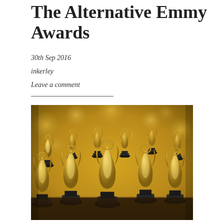The Alternative Emmy Awards
30th Sep 2016
inkerley
Leave a comment
[Figure (photo): Rows of gold Emmy Award statuettes lined up on a table, photographed in shallow depth of field with golden bokeh background.]